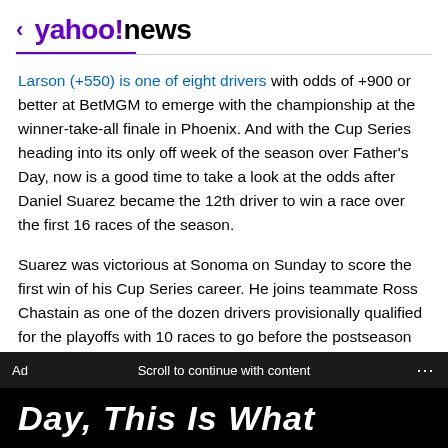< yahoo!news
Larson (+550) is one of eight drivers with odds of +900 or better at BetMGM to emerge with the championship at the winner-take-all finale in Phoenix. And with the Cup Series heading into its only off week of the season over Father's Day, now is a good time to take a look at the odds after Daniel Suarez became the 12th driver to win a race over the first 16 races of the season.
Suarez was victorious at Sonoma on Sunday to score the first win of his Cup Series career. He joins teammate Ross Chastain as one of the dozen drivers provisionally qualified for the playoffs with 10 races to go before the postseason begins.
Ad   Scroll to continue with content   ...
Day, This Is What